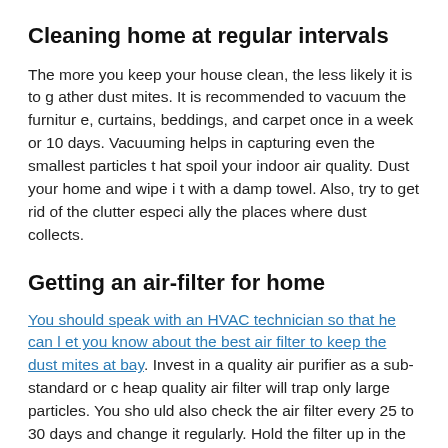Cleaning home at regular intervals
The more you keep your house clean, the less likely it is to gather dust mites. It is recommended to vacuum the furniture, curtains, beddings, and carpet once in a week or 10 days. Vacuuming helps in capturing even the smallest particles that spoil your indoor air quality. Dust your home and wipe it with a damp towel. Also, try to get rid of the clutter especially the places where dust collects.
Getting an air-filter for home
You should speak with an HVAC technician so that he can let you know about the best air filter to keep the dust mites at bay. Invest in a quality air purifier as a sub-standard or cheap quality air filter will trap only large particles. You should also check the air filter every 25 to 30 days and change it regularly. Hold the filter up in the light. If the light fails to pass easily from the filter, you need to clean or replace it.